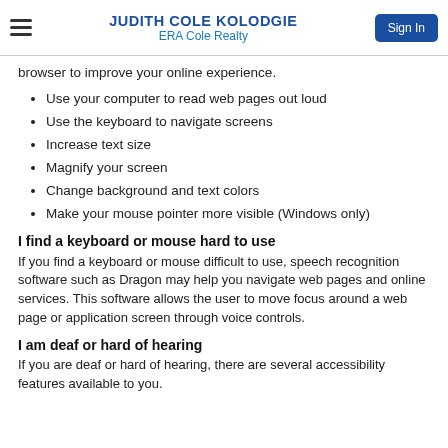JUDITH COLE KOLODGIE
ERA Cole Realty
browser to improve your online experience.
Use your computer to read web pages out loud
Use the keyboard to navigate screens
Increase text size
Magnify your screen
Change background and text colors
Make your mouse pointer more visible (Windows only)
I find a keyboard or mouse hard to use
If you find a keyboard or mouse difficult to use, speech recognition software such as Dragon may help you navigate web pages and online services. This software allows the user to move focus around a web page or application screen through voice controls.
I am deaf or hard of hearing
If you are deaf or hard of hearing, there are several accessibility features available to you.